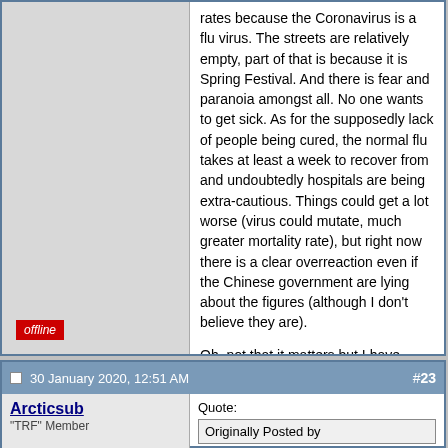rates because the Coronavirus is a flu virus. The streets are relatively empty, part of that is because it is Spring Festival. And there is fear and paranoia amongst all. No one wants to get sick. As for the supposedly lack of people being cured, the normal flu takes at least a week to recover from and undoubtedly hospitals are being extra-cautious. Things could get a lot worse (virus could mutate, much greater mortality rate), but right now there is a clear overreaction even if the Chinese government are lying about the figures (although I don't believe they are).
Oh, not that it matters but I have been on plenty of empty buses and there are people walking outside in this city of over 10 million.
offline
30 January 2020, 12:51 AM
#23
Arcticsub
"TRF" Member
Quote: Originally Posted by